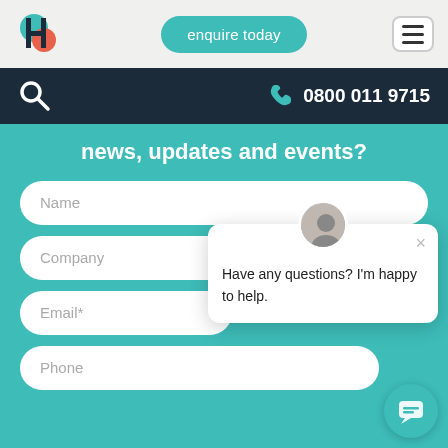enquire today | 0800 011 9715
news, updates and events?
Name
Company
Email*
Phone
Have any questions? I'm happy to help.